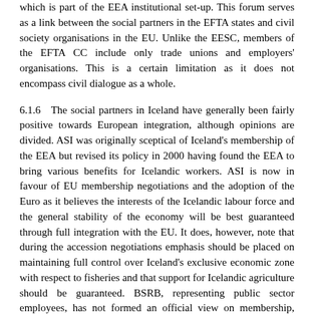which is part of the EEA institutional set-up. This forum serves as a link between the social partners in the EFTA states and civil society organisations in the EU. Unlike the EESC, members of the EFTA CC include only trade unions and employers' organisations. This is a certain limitation as it does not encompass civil dialogue as a whole.
6.1.6   The social partners in Iceland have generally been fairly positive towards European integration, although opinions are divided. ASI was originally sceptical of Iceland's membership of the EEA but revised its policy in 2000 having found the EEA to bring various benefits for Icelandic workers. ASI is now in favour of EU membership negotiations and the adoption of the Euro as it believes the interests of the Icelandic labour force and the general stability of the economy will be best guaranteed through full integration with the EU. It does, however, note that during the accession negotiations emphasis should be placed on maintaining full control over Iceland's exclusive economic zone with respect to fisheries and that support for Icelandic agriculture should be guaranteed. BSRB, representing public sector employees, has not formed an official view on membership, although it welcomes open discussions related to the negotiations.
6.1.7   On the employers' side, SA aims to follow the membership talks closely but has adopted a neutral stance on EU membership it and employers organisations lit the issues SI f and i